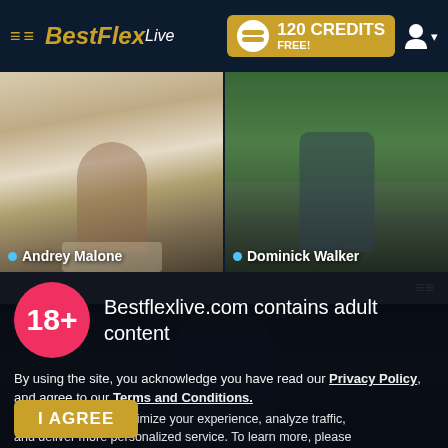BestFlexLive — 120 CREDITS FREE!
[Figure (screenshot): Thumbnail of Andrey Malone — male figure on bed with blue pillows]
[Figure (screenshot): Thumbnail of Dominick Walker — male figure outdoors with trees in background]
Andrey Malone
Dominick Walker
Bestflexlive.com contains adult content
By using the site, you acknowledge you have read our Privacy Policy, and agree to our Terms and Conditions.
We use cookies to optimize your experience, analyze traffic, and deliver more personalized service. To learn more, please see our Privacy Policy.
I AGREE